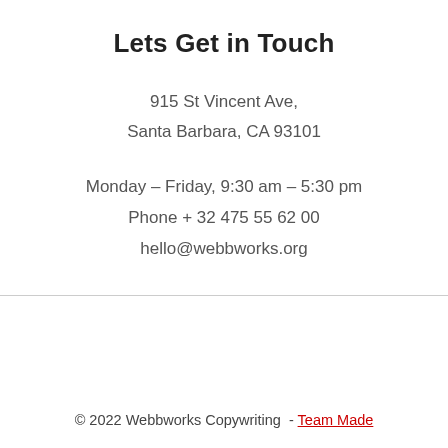Lets Get in Touch
915 St Vincent Ave,
Santa Barbara, CA 93101
Monday – Friday, 9:30 am – 5:30 pm
Phone + 32 475 55 62 00
hello@webbworks.org
© 2022 Webbworks Copywriting  -  Team Made